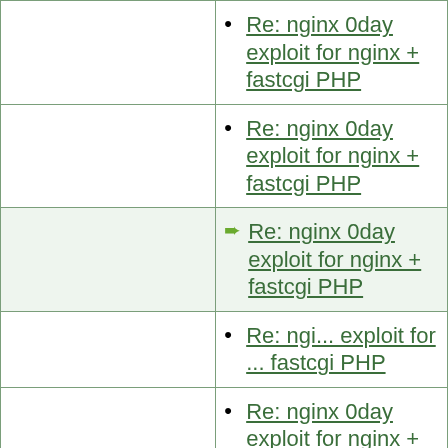Re: nginx 0day exploit for nginx + fastcgi PHP
Re: nginx 0day exploit for nginx + fastcgi PHP
Re: nginx 0day exploit for nginx + fastcgi PHP
Re: ngi... exploit for ... fastcgi PH...
Re: nginx 0day exploit for nginx + fastcgi PHP
Re: nginx 0day exploit for nginx + fastcgi PHP